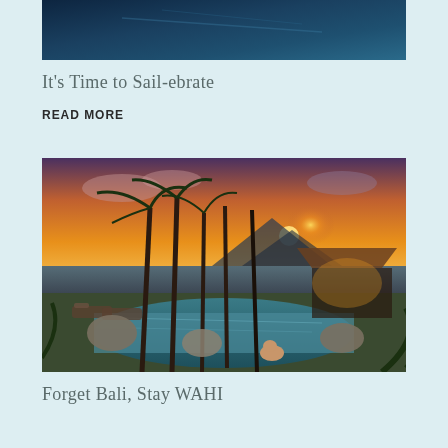[Figure (photo): Aerial or ocean view photo with deep blue water tones, partially cropped at top of page]
It's Time to Sail-ebrate
READ MORE
[Figure (photo): Tropical resort pool at sunset with tall palm trees, infinity pool overlooking ocean, woman lounging at pool edge, thatched-roof bar/lounge area with warm golden sunset light, rocks around pool]
Forget Bali, Stay WAHI